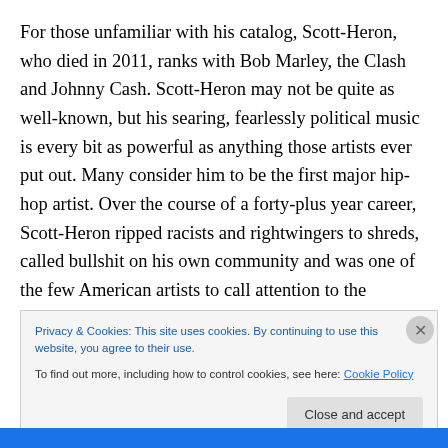For those unfamiliar with his catalog, Scott-Heron, who died in 2011, ranks with Bob Marley, the Clash and Johnny Cash. Scott-Heron may not be quite as well-known, but his searing, fearlessly political music is every bit as powerful as anything those artists ever put out. Many consider him to be the first major hip-hop artist. Over the course of a forty-plus year career, Scott-Heron ripped racists and rightwingers to shreds, called bullshit on his own community and was one of the few American artists to call attention to the apocalyptic danger of nuclear power: his
Privacy & Cookies: This site uses cookies. By continuing to use this website, you agree to their use.
To find out more, including how to control cookies, see here: Cookie Policy